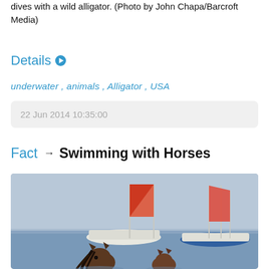dives with a wild alligator. (Photo by John Chapa/Barcroft Media)
Details ▶
underwater , animals , Alligator , USA
22 Jun 2014 10:35:00
Fact → Swimming with Horses
[Figure (photo): Horses swimming in the sea near sailboats; view from behind showing horse heads above water with sailboats and blue sky in background.]